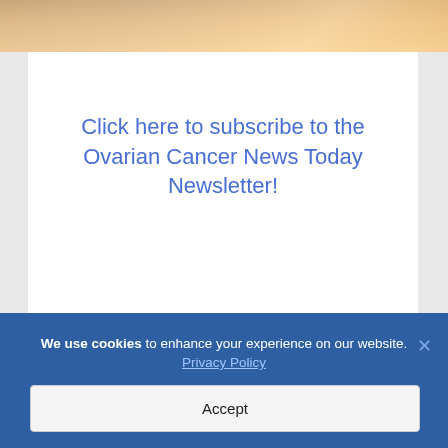[Figure (photo): Top portion of a photo showing hands with warm orange/golden sunlight in background]
Click here to subscribe to the Ovarian Cancer News Today Newsletter!
Myriad Genetics will support the post-marketing regulatory development
We use cookies to enhance your experience on our website. Privacy Policy Accept